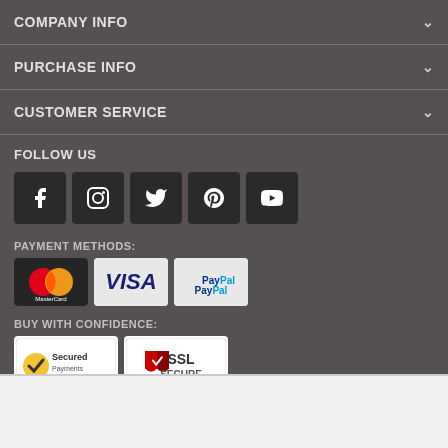COMPANY INFO
PURCHASE INFO
CUSTOMER SERVICE
FOLLOW US
[Figure (infographic): Social media icons: Facebook, Instagram, Twitter, Pinterest, YouTube]
PAYMENT METHODS:
[Figure (infographic): Payment method badges: MasterCard, Visa, PayPal]
BUY WITH CONFIDENCE:
[Figure (infographic): Trust badges: Secured by PayPal, SSL Secure]
ADD TO CART